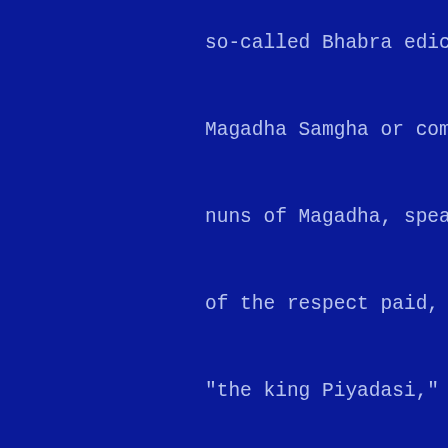so-called Bhabra edict, which, addressed to the Magadha Samgha or community of Buddhist monks and nuns of Magadha, speaks, in the most emphatic terms, of the respect paid, and the goodwill borne, by "the king Piyadasi," that is Asoka as known to Mien, to "the Buddha, the Faith (Dhamma), and the Order (Samgha)."
Nor is it necessary to repeat the disquisitions which have been given with a view to bringing the supposed purport of the edicts, particularly in the matter of two stages in the religious career of Asoka, into harmony with